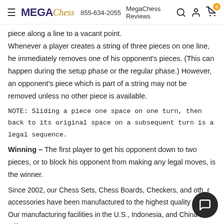MEGA Chess  855-634-2055  MegaChess Reviews
piece along a line to a vacant point.
Whenever a player creates a string of three pieces on one line, he immediately removes one of his opponent's pieces. (This can happen during the setup phase or the regular phase.) However, an opponent's piece which is part of a string may not be removed unless no other piece is available.
NOTE: Sliding a piece one space on one turn, then back to its original space on a subsequent turn is a legal sequence.
Winning – The first player to get his opponent down to two pieces, or to block his opponent from making any legal moves, is the winner.
Since 2002, our Chess Sets, Chess Boards, Checkers, and other accessories have been manufactured to the highest quality s…
Our manufacturing facilities in the U.S., Indonesia, and China utilizes